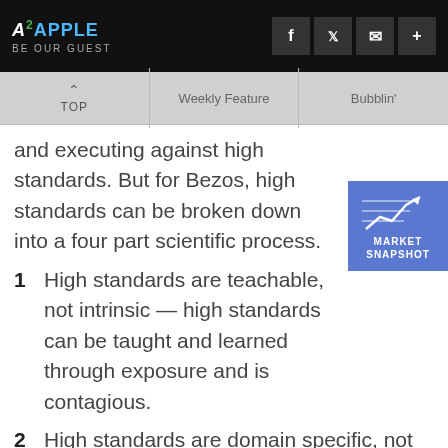A2APPLE BE OUR GUEST
TOP | Weekly Feature | Bubblin'
and executing against high standards. But for Bezos, high standards can be broken down into a four part scientific process.
[Figure (infographic): Market Snapshot widget showing a line chart with upward trend arrow on blue background]
1  High standards are teachable, not intrinsic — high standards can be taught and learned through exposure and is contagious.
2  High standards are domain specific, not universal — high standards must be applied over and over again in each domain. Even if you have high standards in one domain, it doesn't always carry over, so you must learn